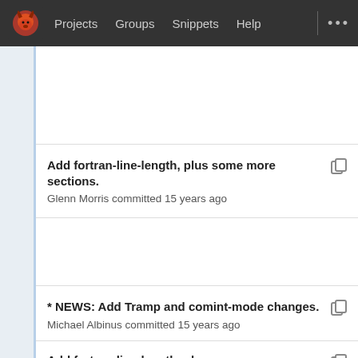Projects  Groups  Snippets  Help  ...
Add fortran-line-length, plus some more sections.
Glenn Morris committed 15 years ago
* NEWS: Add Tramp and comint-mode changes.
Michael Albinus committed 15 years ago
Add fortran-line-length, plus some more sections.
Glenn Morris committed 15 years ago
(dired-mode-map): Bind C-x C-q to dired-toggle-re...